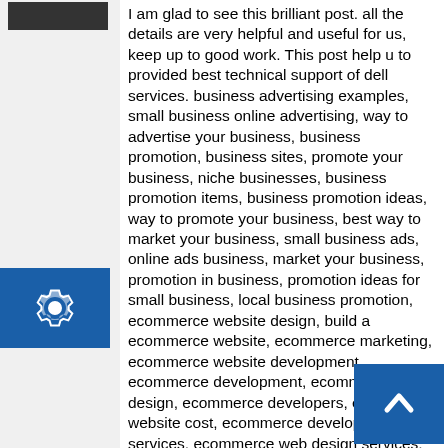[Figure (other): Dark gray/black avatar placeholder bar at top of left sidebar]
[Figure (other): Blue settings/gear button on left sidebar]
I am glad to see this brilliant post. all the details are very helpful and useful for us, keep up to good work. This post help u to provided best technical support of dell services. business advertising examples, small business online advertising, way to advertise your business, business promotion, business sites, promote your business, niche businesses, business promotion items, business promotion ideas, way to promote your business, best way to market your business, small business ads, online ads business, market your business, promotion in business, promotion ideas for small business, local business promotion, ecommerce website design, build a ecommerce website, ecommerce marketing, ecommerce website development, ecommerce development, ecommerce web design, ecommerce developers, ecommerce website cost, ecommerce development services, ecommerce web design services, ecommerce website development services, best ecommerce website design, ecommerce advertising, ecommerce app development, ecommerce website designers, ecommerce web developers, ecommerce web design packages, low cost ecommerce website design
[Figure (other): Blue back-to-top button with upward chevron arrow, bottom right corner]